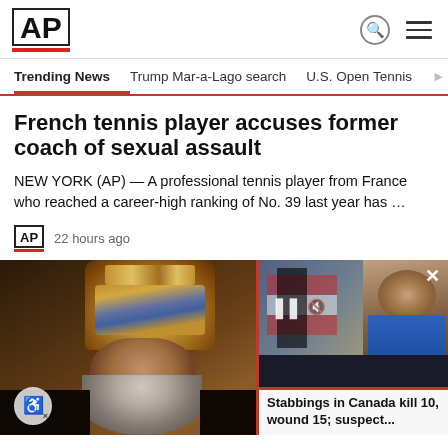AP
Trending News
Trump Mar-a-Lago search
U.S. Open Tennis
French tennis player accuses former coach of sexual assault
NEW YORK (AP) — A professional tennis player from France who reached a career-high ranking of No. 39 last year has …
22 hours ago
[Figure (photo): Orthodox bishop or patriarch wearing an ornate golden mitre crown, with a white beard, in dark ecclesiastical robes. A video overlay in the corner shows a news story about stabbings in Canada.]
Stabbings in Canada kill 10, wound 15; suspect...